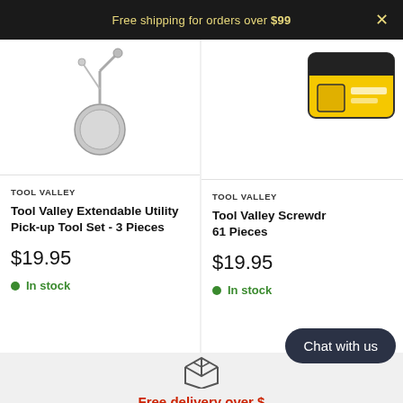Free shipping for orders over $99
TOOL VALLEY
Tool Valley Extendable Utility Pick-up Tool Set - 3 Pieces
$19.95
In stock
TOOL VALLEY
Tool Valley Screwdr 61 Pieces
$19.95
In stock
[Figure (other): Box/package icon for free delivery section]
Free delivery over $
All orders over $99 will qualify for free shipping anywhere in Canada